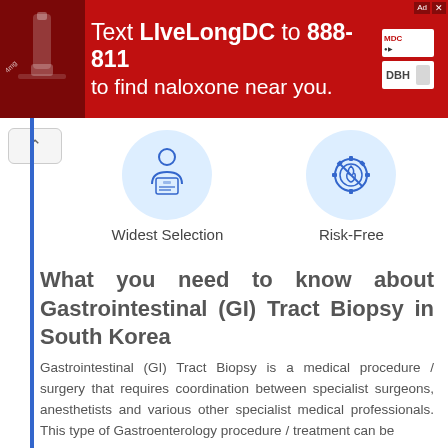[Figure (screenshot): Red advertisement banner: Text LiveLongDC to 888-811 to find naloxone near you. DC and DBH logos on right.]
[Figure (illustration): Icon of a person with ID card badge in a blue circle — Widest Selection]
Widest Selection
[Figure (illustration): Icon of a gear with fire/shield symbol in a blue circle — Risk-Free]
Risk-Free
What you need to know about Gastrointestinal (GI) Tract Biopsy in South Korea
Gastrointestinal (GI) Tract Biopsy is a medical procedure / surgery that requires coordination between specialist surgeons, anesthetists and various other specialist medical professionals. This type of Gastroenterology procedure / treatment can be